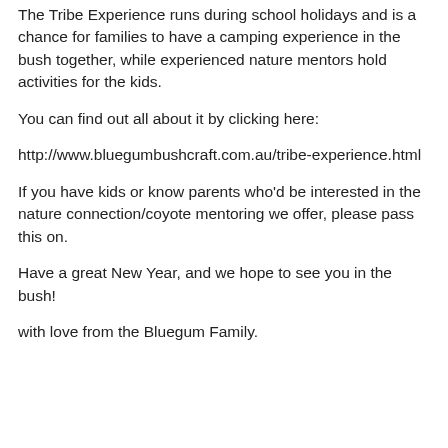The Tribe Experience runs during school holidays and is a chance for families to have a camping experience in the bush together, while experienced nature mentors hold activities for the kids.
You can find out all about it by clicking here:
http://www.bluegumbushcraft.com.au/tribe-experience.html
If you have kids or know parents who'd be interested in the nature connection/coyote mentoring we offer, please pass this on.
Have a great New Year, and we hope to see you in the bush!
with love from the Bluegum Family.